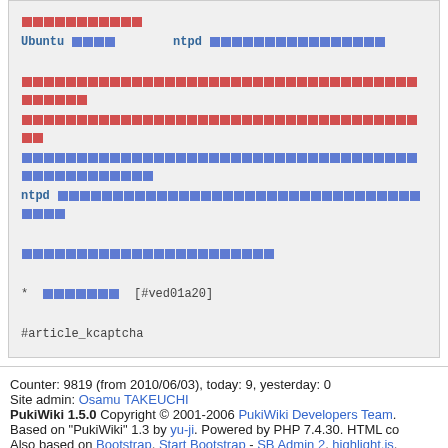Code/preformatted block containing Japanese text with Ubuntu, ntpd references and markup items including [#ved01a20] and #article_kcaptcha
Counter: 9819 (from 2010/06/03), today: 9, yesterday: 0
Site admin: Osamu TAKEUCHI
PukiWiki 1.5.0 Copyright © 2001-2006 PukiWiki Developers Team.
Based on "PukiWiki" 1.3 by yu-ji. Powered by PHP 7.4.30. HTML co
Also based on Bootstrap, Start Bootstrap - SB Admin 2, highlight.js, chart, Bitly.